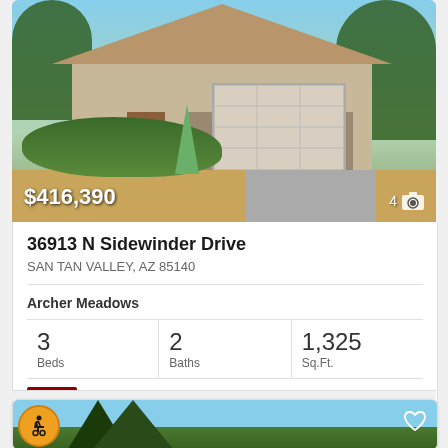[Figure (photo): Exterior rendering of a single-story tan stucco home with two-car garage, desert landscaping with agave plants, and stone accents. Price overlay shows $416,390.]
36913 N Sidewinder Drive
SAN TAN VALLEY, AZ 85140
Archer Meadows
| Beds | Baths | Sq.Ft. |
| --- | --- | --- |
| 3 | 2 | 1,325 |
Meritage Homes Of Arizona, Inc
[Figure (photo): Partial view of a second listing with a wheelchair accessibility icon badge and a heart/favorite icon, showing a blue sky and dark trees.]